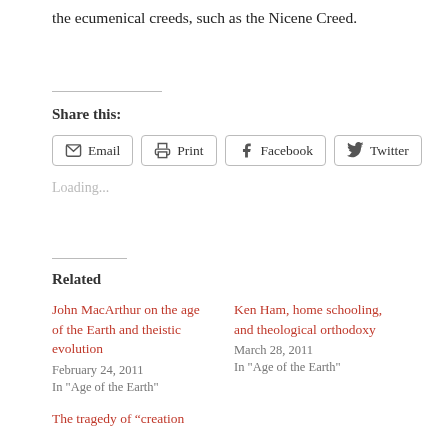the ecumenical creeds, such as the Nicene Creed.
Share this:
Email  Print  Facebook  Twitter
Loading...
Related
John MacArthur on the age of the Earth and theistic evolution
February 24, 2011
In "Age of the Earth"
Ken Ham, home schooling, and theological orthodoxy
March 28, 2011
In "Age of the Earth"
The tragedy of “creation